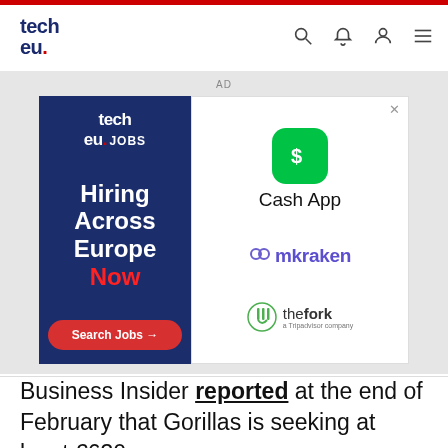tech.eu
[Figure (infographic): Advertisement banner containing two panels: left panel with tech.eu JOBS logo and text 'Hiring Across Europe Now' with a 'Search Jobs →' button on dark blue background; right panel with Cash App, Kraken, and TheFork logos on white background.]
Business Insider reported at the end of February that Gorillas is seeking at least €630